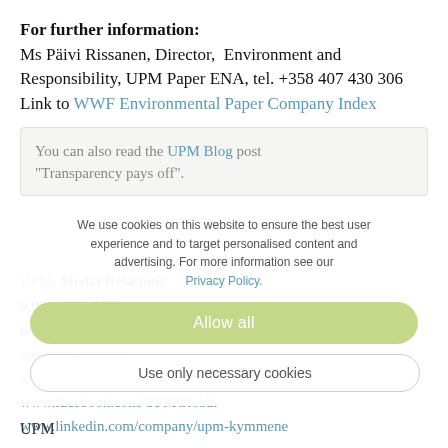For further information: Ms Päivi Rissanen, Director, Environment and Responsibility, UPM Paper ENA, tel. +358 407 430 306
Link to WWF Environmental Paper Company Index
You can also read the UPM Blog post "Transparency pays off".
We use cookies on this website to ensure the best user experience and to target personalised content and advertising. For more information see our Privacy Policy.
UPM, Media Relations
9.00-16.00 EET
tel. +358 40 588 3284
media@upm.com
Allow all
www.twitter.com/UPM_News
www.facebook.com/UPMGlobal
www.linkedin.com/company/upm-kymmene
Use only necessary cookies
UPM